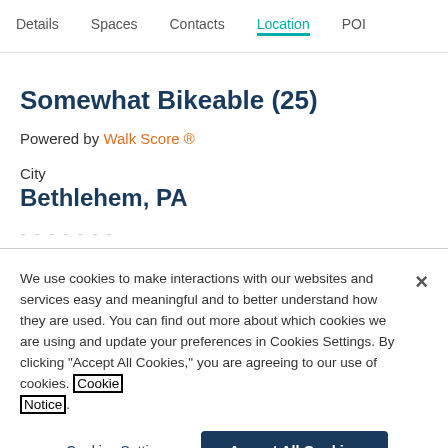Details  Spaces  Contacts  Location  POI
Somewhat Bikeable (25)
Powered by Walk Score ®
City
Bethlehem, PA
We use cookies to make interactions with our websites and services easy and meaningful and to better understand how they are used. You can find out more about which cookies we are using and update your preferences in Cookies Settings. By clicking "Accept All Cookies," you are agreeing to our use of cookies. Cookie Notice.
Cookies Settings  Accept All Cookies